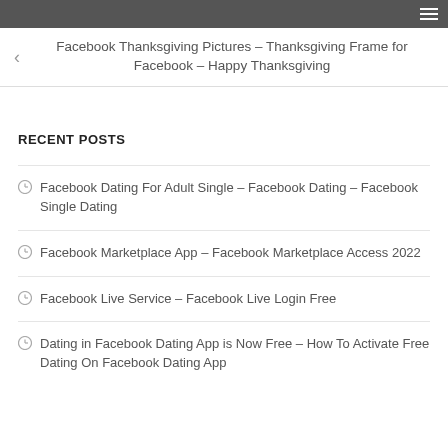Facebook Thanksgiving Pictures – Thanksgiving Frame for Facebook – Happy Thanksgiving
RECENT POSTS
Facebook Dating For Adult Single – Facebook Dating – Facebook Single Dating
Facebook Marketplace App – Facebook Marketplace Access 2022
Facebook Live Service – Facebook Live Login Free
Dating in Facebook Dating App is Now Free – How To Activate Free Dating On Facebook Dating App